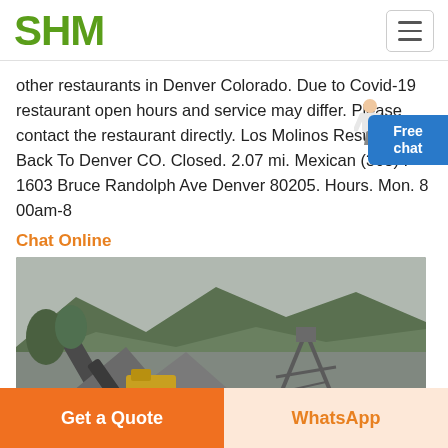SHM
other restaurants in Denver Colorado. Due to Covid-19 restaurant open hours and service may differ. Please contact the restaurant directly. Los Molinos Restaurant « Back To Denver CO. Closed. 2.07 mi. Mexican (303) . 1603 Bruce Randolph Ave Denver 80205. Hours. Mon. 8 00am-8
Chat Online
[Figure (photo): Outdoor mining/quarrying facility with conveyor belts, gravel piles, industrial equipment and green hills/mountains in background]
Get a Quote
WhatsApp